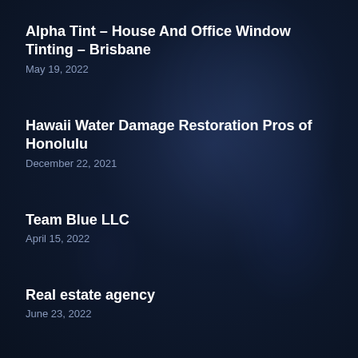Alpha Tint – House And Office Window Tinting – Brisbane
May 19, 2022
Hawaii Water Damage Restoration Pros of Honolulu
December 22, 2021
Team Blue LLC
April 15, 2022
Real estate agency
June 23, 2022
San Diego Solar Surfers